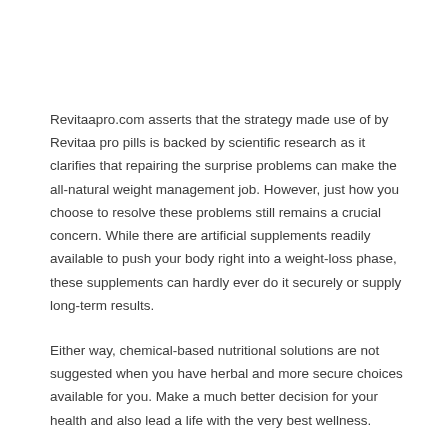Revitaapro.com asserts that the strategy made use of by Revitaa pro pills is backed by scientific research as it clarifies that repairing the surprise problems can make the all-natural weight management job. However, just how you choose to resolve these problems still remains a crucial concern. While there are artificial supplements readily available to push your body right into a weight-loss phase, these supplements can hardly ever do it securely or supply long-term results.
Either way, chemical-based nutritional solutions are not suggested when you have herbal and more secure choices available for you. Make a much better decision for your health and also lead a life with the very best wellness.